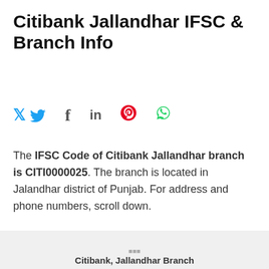Citibank Jallandhar IFSC & Branch Info
[Figure (infographic): Social media share icons: Twitter (blue bird), Facebook (f), LinkedIn (in), Pinterest (red P), WhatsApp (green phone)]
The IFSC Code of Citibank Jallandhar branch is CITI0000025. The branch is located in Jalandhar district of Punjab. For address and phone numbers, scroll down.
Citibank Jallandhar IFSC Code: CITI0000025
This IFSC Code is currently NOT in use.
Citibank, Jallandhar Branch